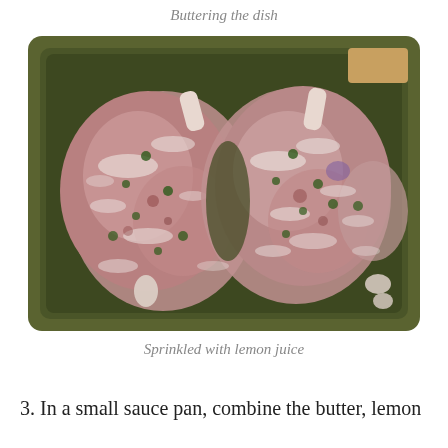Buttering the dish
[Figure (photo): Two raw chicken or lamb pieces coated with flour, herbs, and lemon juice in an olive-green baking dish.]
Sprinkled with lemon juice
3. In a small sauce pan, combine the butter, lemon